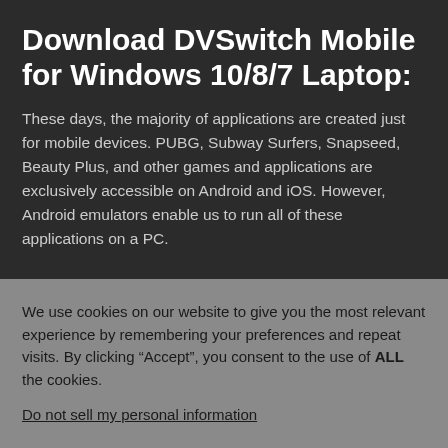Download DVSwitch Mobile for Windows 10/8/7 Laptop:
These days, the majority of applications are created just for mobile devices. PUBG, Subway Surfers, Snapseed, Beauty Plus, and other games and applications are exclusively accessible on Android and iOS. However, Android emulators enable us to run all of these applications on a PC.
We use cookies on our website to give you the most relevant experience by remembering your preferences and repeat visits. By clicking “Accept”, you consent to the use of ALL the cookies.
Do not sell my personal information.